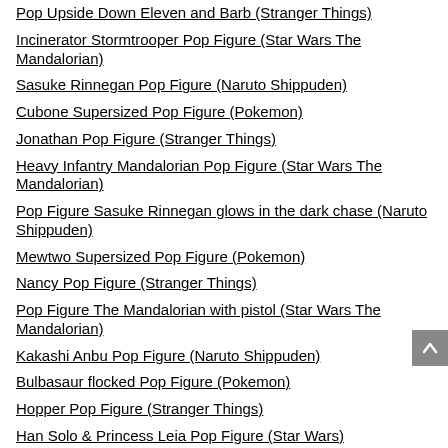Pop Upside Down Eleven and Barb (Stranger Things)
Incinerator Stormtrooper Pop Figure (Star Wars The Mandalorian)
Sasuke Rinnegan Pop Figure (Naruto Shippuden)
Cubone Supersized Pop Figure (Pokemon)
Jonathan Pop Figure (Stranger Things)
Heavy Infantry Mandalorian Pop Figure (Star Wars The Mandalorian)
Pop Figure Sasuke Rinnegan glows in the dark chase (Naruto Shippuden)
Mewtwo Supersized Pop Figure (Pokemon)
Nancy Pop Figure (Stranger Things)
Pop Figure The Mandalorian with pistol (Star Wars The Mandalorian)
Kakashi Anbu Pop Figure (Naruto Shippuden)
Bulbasaur flocked Pop Figure (Pokemon)
Hopper Pop Figure (Stranger Things)
Han Solo & Princess Leia Pop Figure (Star Wars)